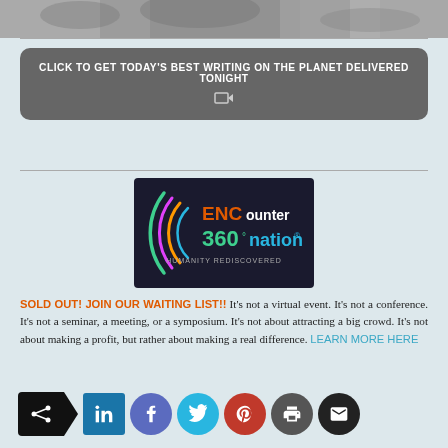[Figure (photo): Cropped top portion of a black and white nature photo with leaves]
CLICK TO GET TODAY'S BEST WRITING ON THE PLANET DELIVERED TONIGHT [share icon]
[Figure (logo): Encounter 360 Nation - Humanity Rediscovered logo with colorful circular arc design on dark background]
SOLD OUT! JOIN OUR WAITING LIST!! It's not a virtual event. It's not a conference. It's not a seminar, a meeting, or a symposium. It's not about attracting a big crowd. It's not about making a profit, but rather about making a real difference. LEARN MORE HERE
[Figure (infographic): Social sharing buttons: share, LinkedIn, Facebook, Twitter, Pinterest, print, email]